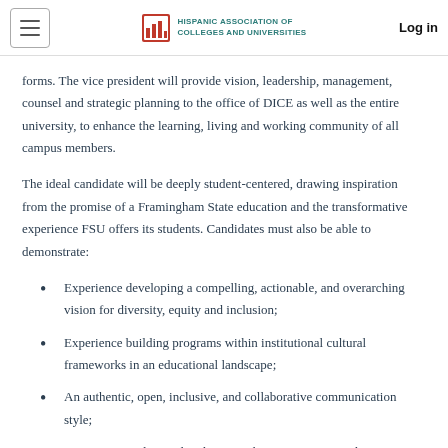HISPANIC ASSOCIATION OF COLLEGES AND UNIVERSITIES | Log in
forms. The vice president will provide vision, leadership, management, counsel and strategic planning to the office of DICE as well as the entire university, to enhance the learning, living and working community of all campus members.
The ideal candidate will be deeply student-centered, drawing inspiration from the promise of a Framingham State education and the transformative experience FSU offers its students. Candidates must also be able to demonstrate:
Experience developing a compelling, actionable, and overarching vision for diversity, equity and inclusion;
Experience building programs within institutional cultural frameworks in an educational landscape;
An authentic, open, inclusive, and collaborative communication style;
Capacity to understand and respect the FSU mission and